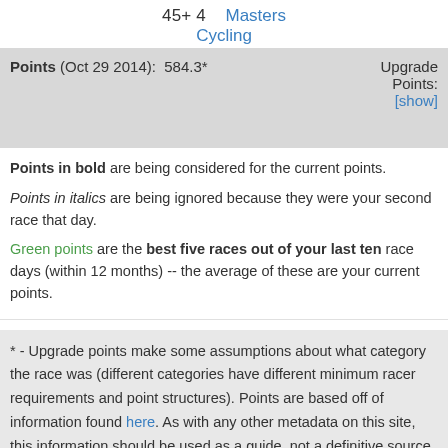45+ 4    Masters Cycling
| Points (Oct 29 2014): 584.3* | Upgrade Points:  [show] |
| --- | --- |
Points in bold are being considered for the current points.
Points in italics are being ignored because they were your second race that day.
Green points are the best five races out of your last ten race days (within 12 months) -- the average of these are your current points.
* - Upgrade points make some assumptions about what category the race was (different categories have different minimum racer requirements and point structures). Points are based off of information found here. As with any other metadata on this site, this information should be used as a guide, not a definitive source – for upgrade questions, please contact your local USA Cycling